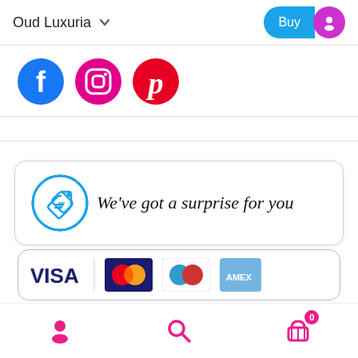Oud Luxuria
[Figure (logo): Social media icons: Facebook (blue circle with f), Instagram (pink circle with camera), Pinterest (red circle with P)]
[Figure (infographic): Surprise offer card with blue tag icon in a circle and text: We've got a surprise for you]
[Figure (infographic): Payment methods strip showing Visa, Mastercard, and other card logos]
[Figure (infographic): Bottom navigation bar with user profile, search, and shopping cart icons]